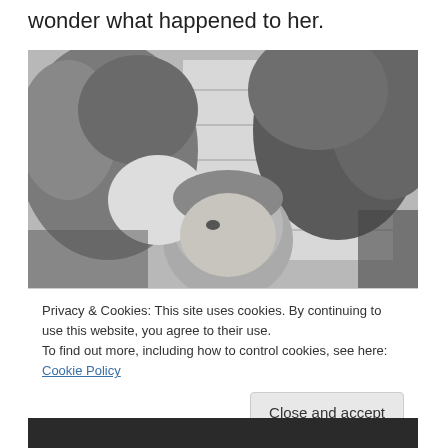wonder what happened to her.
[Figure (photo): Black and white vintage photograph of a young child peeking through or among garden plants and foliage, with a white clapboard house siding visible in the background.]
Privacy & Cookies: This site uses cookies. By continuing to use this website, you agree to their use.
To find out more, including how to control cookies, see here: Cookie Policy
Close and accept